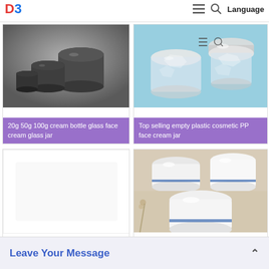D3 | Language
[Figure (photo): 20g 50g 100g cream bottle glass face cream glass jar - dark grey/black glass jars with lids]
20g 50g 100g cream bottle glass face cream glass jar
[Figure (photo): Top selling empty plastic cosmetic PP face cream jar - clear/crystal plastic jars on blue background]
Top selling empty plastic cosmetic PP face cream jar
[Figure (photo): Cosmetic cream glass bottle with glass jar - white blank product image]
Cosmetic cream glass bottle wi... glass ja...
[Figure (photo): 230g plastic white cosmetic jars - white round jars with blue stripe on beige background]
230g plastic white
Leave Your Message